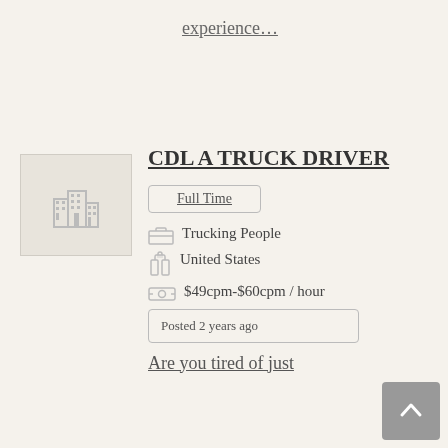experience…
[Figure (illustration): Company logo placeholder with building/city icon in grey on light beige background]
CDL A TRUCK DRIVER
Full Time
Trucking People
United States
$49cpm-$60cpm / hour
Posted 2 years ago
Are you tired of just